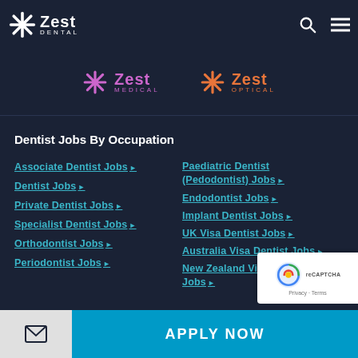Zest Dental — navigation bar with search and menu icons
[Figure (logo): Zest Medical logo (purple snowflake) and Zest Optical logo (orange snowflake) side by side on dark background]
Dentist Jobs By Occupation
Associate Dentist Jobs ▶
Dentist Jobs ▶
Private Dentist Jobs ▶
Specialist Dentist Jobs ▶
Orthodontist Jobs ▶
Periodontist Jobs ▶
Paediatric Dentist (Pedodontist) Jobs ▶
Endodontist Jobs ▶
Implant Dentist Jobs ▶
UK Visa Dentist Jobs ▶
Australia Visa Dentist Jobs ▶
New Zealand Visa Dentist Jobs ▶
APPLY NOW